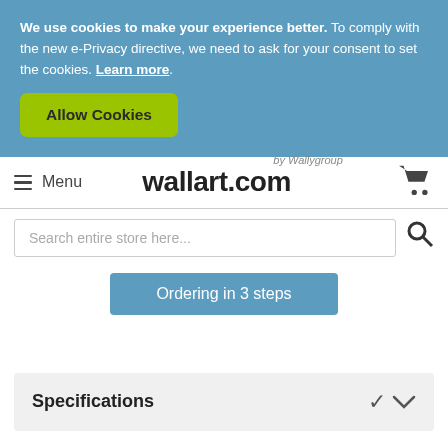We use cookies to make your experience better. To comply with the new e-Privacy directive, we need to ask for your consent to set the cookies. Learn more.
Allow Cookies
Menu | wallart.com by Wallygroup
Search entire store here...
Ordering in 3 steps
Specifications